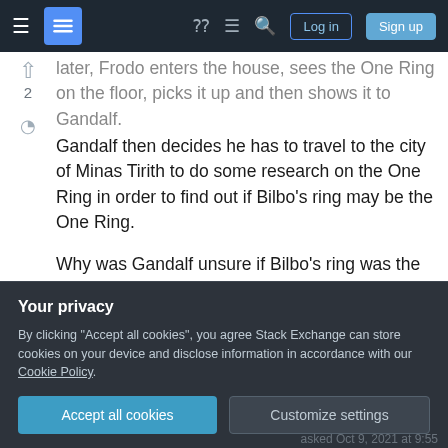Stack Exchange navigation bar with Log in and Sign up buttons
later, Frodo enters the house, sees the One Ring on the floor, picks it up and then shows it to Gandalf.
Gandalf then decides he has to travel to the city of Minas Tirith to do some research on the One Ring in order to find out if Bilbo's ring may be the One Ring.
Why was Gandalf unsure if Bilbo's ring was the One Ring if he had seen an image of Sauron's Eye when he was about to pick it up?
tolkiens-legendarium
the-lord-of-the-rings
the-one-ring
Your privacy
By clicking "Accept all cookies", you agree Stack Exchange can store cookies on your device and disclose information in accordance with our Cookie Policy.
Accept all cookies
Customize settings
asked Oct 9, 2021 at 9:55